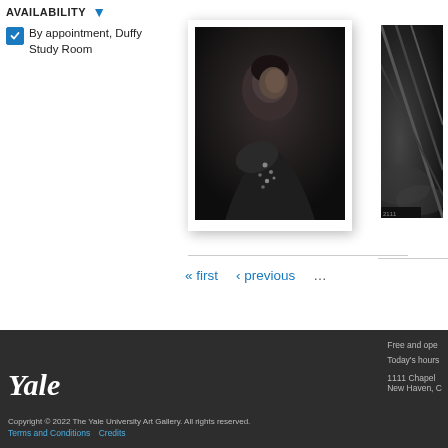AVAILABILITY
By appointment, Duffy Study Room
[Figure (photo): Black and white portrait photograph of a woman seated, looking to the side, displayed in a white mat with shadow]
[Figure (photo): Partial black and white photograph showing geometric diagonal lines against a cloudy sky, cropped at right edge]
« first   ‹ previous   …
Yale
Copyright © 2022 The Yale University Art Gallery. All rights reserved.
Terms and Conditions  Credits
Free and open
Today's hours
1111 Chapel
New Haven, C